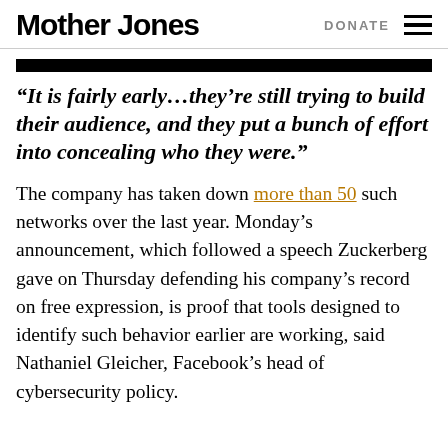Mother Jones  DONATE
“It is fairly early…they’re still trying to build their audience, and they put a bunch of effort into concealing who they were.”
The company has taken down more than 50 such networks over the last year. Monday’s announcement, which followed a speech Zuckerberg gave on Thursday defending his company’s record on free expression, is proof that tools designed to identify such behavior earlier are working, said Nathaniel Gleicher, Facebook’s head of cybersecurity policy.